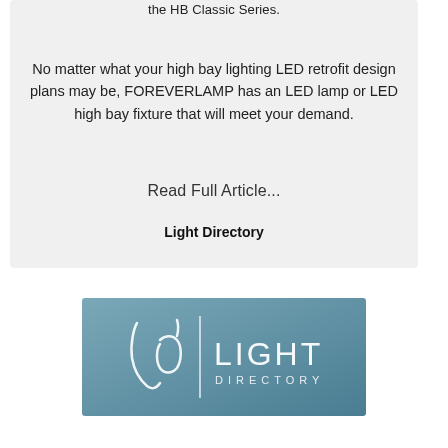the HB Classic Series.
No matter what your high bay lighting LED retrofit design plans may be, FOREVERLAMP has an LED lamp or LED high bay fixture that will meet your demand.
Read Full Article...
Light Directory
[Figure (logo): Light Directory logo on a blue-grey gradient background, featuring a stylized 'ld' monogram and the text 'LIGHT DIRECTORY']